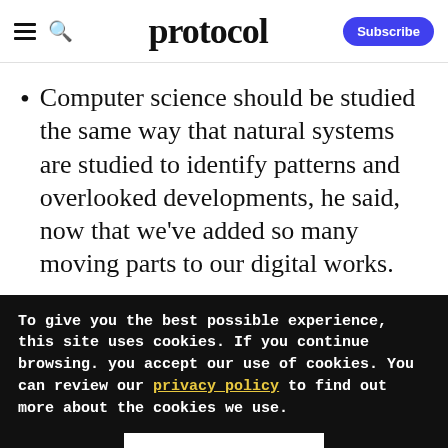protocol | Subscribe
Computer science should be studied the same way that natural systems are studied to identify patterns and overlooked developments, he said, now that we've added so many moving parts to our digital works.
To give you the best possible experience, this site uses cookies. If you continue browsing. you accept our use of cookies. You can review our privacy policy to find out more about the cookies we use.
Accept